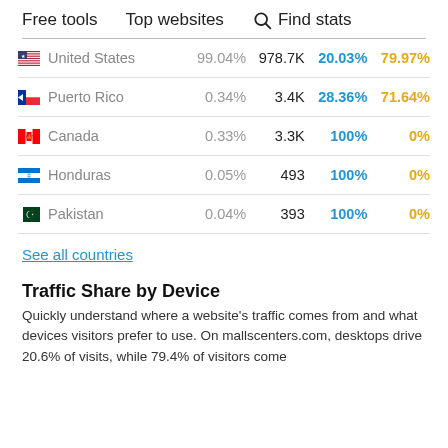Free tools   Top websites   Find stats
| Country | % | Visits | Desktop | Mobile |
| --- | --- | --- | --- | --- |
| United States | 99.04% | 978.7K | 20.03% | 79.97% |
| Puerto Rico | 0.34% | 3.4K | 28.36% | 71.64% |
| Canada | 0.33% | 3.3K | 100% | 0% |
| Honduras | 0.05% | 493 | 100% | 0% |
| Pakistan | 0.04% | 393 | 100% | 0% |
See all countries
Traffic Share by Device
Quickly understand where a website's traffic comes from and what devices visitors prefer to use. On mallscenters.com, desktops drive 20.6% of visits, while 79.4% of visitors come